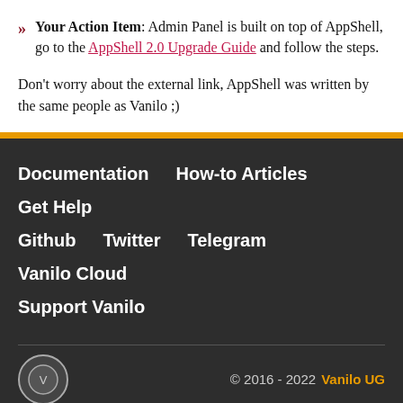Your Action Item: Admin Panel is built on top of AppShell, go to the AppShell 2.0 Upgrade Guide and follow the steps.
Don't worry about the external link, AppShell was written by the same people as Vanilo ;)
Documentation  How-to Articles  Get Help  Github  Twitter  Telegram  Vanilo Cloud  Support Vanilo  © 2016 - 2022 Vanilo UG